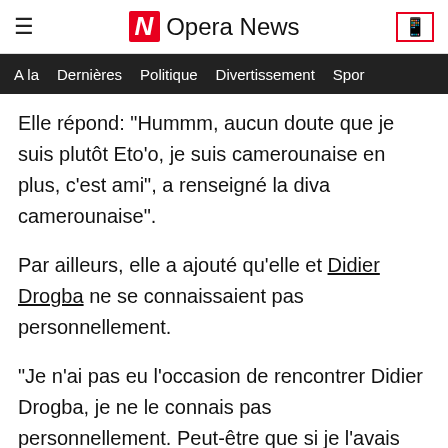≡ Opera News
A la   Dernières   Politique   Divertissement   Spor
Elle répond: "Hummm, aucun doute que je suis plutôt Eto'o, je suis camerounaise en plus, c'est ami", a renseigné la diva camerounaise".
Par ailleurs, elle a ajouté qu'elle et Didier Drogba ne se connaissaient pas personnellement.
"Je n'ai pas eu l'occasion de rencontrer Didier Drogba, je ne le connais pas personnellement. Peut-être que si je l'avais rencontré, les choses auraient peut-être basculées. Didier, franchement, j'aime beaucoup ce qu'il représente